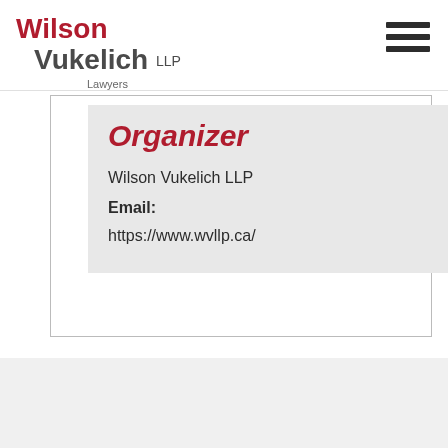Wilson Vukelich LLP Lawyers
Organizer
Wilson Vukelich LLP
Email:
https://www.wvllp.ca/
Wilson Vukelich LLP